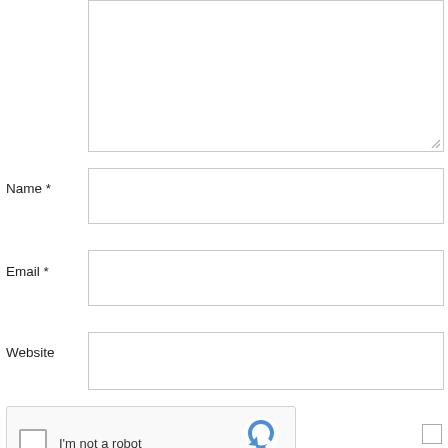[Figure (screenshot): Textarea input field with resize handle in bottom-right corner]
Name *
[Figure (screenshot): Text input field for Name]
Email *
[Figure (screenshot): Text input field for Email]
Website
[Figure (screenshot): Text input field for Website]
[Figure (screenshot): reCAPTCHA widget with checkbox labeled I'm not a robot, reCAPTCHA logo, Privacy and Terms links]
[Figure (screenshot): Small checkbox at bottom right of page]